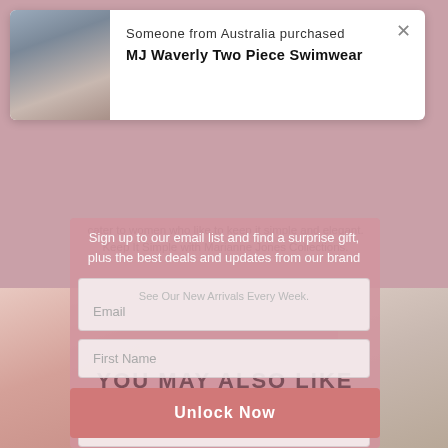[Figure (screenshot): E-commerce website screenshot showing a purchase notification popup overlay on a pink modal email signup form, with 'YOU MAY ALSO LIKE' section and product images below]
Someone from Australia purchased
MJ Waverly Two Piece Swimwear
Sign up to our email list and find a surprise gift, plus the best deals and updates from our brand
cater to women who like to keep it simple and elegant.
Keep It Simple with Marianne Jones Collections.
See Our New Arrivals Every Week.
Email
First Name
YOU MAY ALSO LIKE
Last Name
Unlock Now